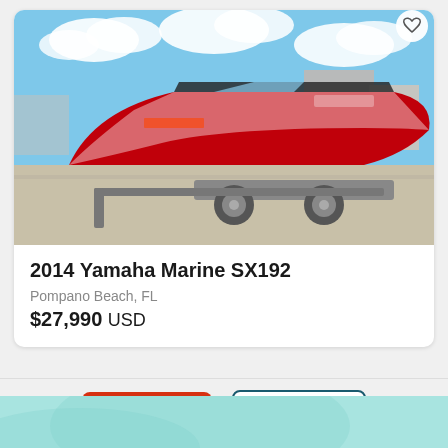[Figure (photo): A red and white 2014 Yamaha Marine SX192 boat on a trailer, parked in an outdoor lot with blue sky in the background]
2014 Yamaha Marine SX192
Pompano Beach, FL
$27,990 USD
[Figure (other): Phone button (red) and Email button (white with teal border) for contacting seller]
[Figure (other): Teal/aqua decorative footer band at bottom of page]